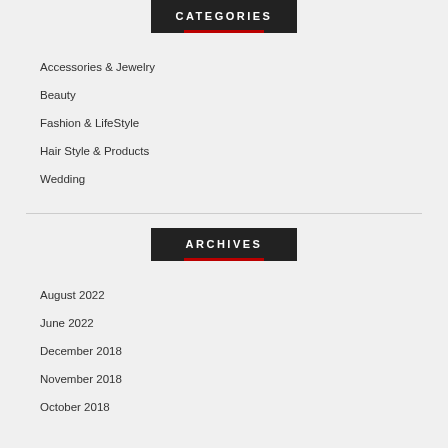CATEGORIES
Accessories & Jewelry
Beauty
Fashion & LifeStyle
Hair Style & Products
Wedding
ARCHIVES
August 2022
June 2022
December 2018
November 2018
October 2018